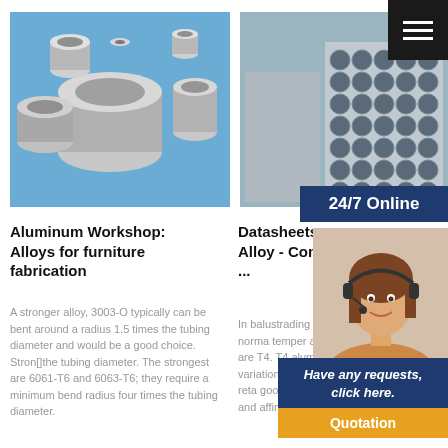[Figure (photo): Aluminum tubes and pipes on blue background - various sizes]
[Figure (photo): Stacked aluminum tubes viewed from end, bundled together]
24/7 Online
Aluminum Workshop: Alloys for furniture fabrication
Datasheets - Alloy - Comm ...
A stronger alloy, 3003-O typically can be bent around a radius 1.5 times the tubing diameter and would be a good choice. Stron[]the tubing diameter. The strongest are 6061-T6 and 6063-T6; they require a minimum bend radius four times the tubing diameter.
In balustrading t posts are norma temper and form bends are T4. T4 aluminium[]loy 6 variation of 6063 strength but reta good surface finish qualities and affinity for
[Figure (photo): Customer service agent / woman with headset smiling]
Have any requests, click here.
Quotation